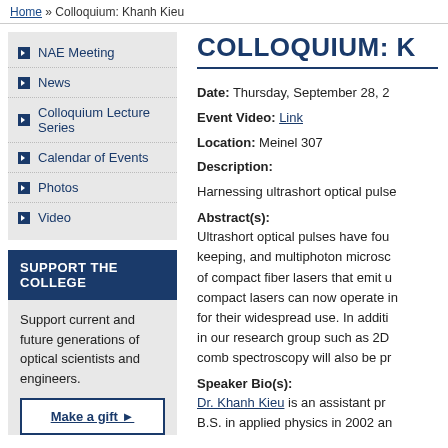Home » Colloquium: Khanh Kieu
NAE Meeting
News
Colloquium Lecture Series
Calendar of Events
Photos
Video
SUPPORT THE COLLEGE
Support current and future generations of optical scientists and engineers.
Make a gift ▶
COLLOQUIUM: K
Date: Thursday, September 28, 2
Event Video: Link
Location: Meinel 307
Description:
Harnessing ultrashort optical pulse
Abstract(s):
Ultrashort optical pulses have fou keeping, and multiphoton microsc of compact fiber lasers that emit compact lasers can now operate i for their widespread use. In additi in our research group such as 2D comb spectroscopy will also be pr
Speaker Bio(s):
Dr. Khanh Kieu is an assistant pr B.S. in applied physics in 2002 an